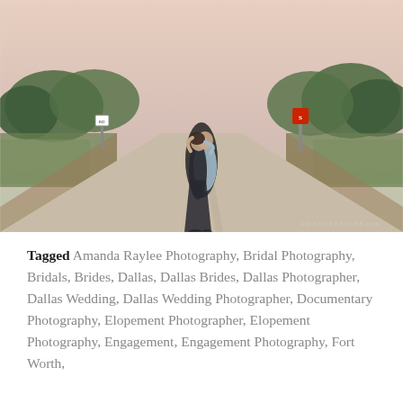[Figure (photo): A couple kissing in the middle of a rural road at dusk. The road stretches into the distance with green trees on either side and a soft pink sky. A stop sign is visible on the right. Watermark reads AMANDARAYLEE.com in lower right corner.]
Tagged Amanda Raylee Photography, Bridal Photography, Bridals, Brides, Dallas, Dallas Brides, Dallas Photographer, Dallas Wedding, Dallas Wedding Photographer, Documentary Photography, Elopement Photographer, Elopement Photography, Engagement, Engagement Photography, Fort Worth,